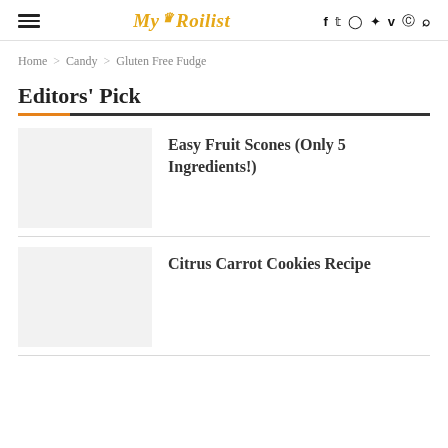My Roilist — navigation header with hamburger menu, logo, and social icons (f, twitter, instagram, pinterest, vimeo, reddit, search)
Home > Candy > Gluten Free Fudge
Editors' Pick
[Figure (photo): Placeholder image for Easy Fruit Scones article]
Easy Fruit Scones (Only 5 Ingredients!)
[Figure (photo): Placeholder image for Citrus Carrot Cookies Recipe article]
Citrus Carrot Cookies Recipe